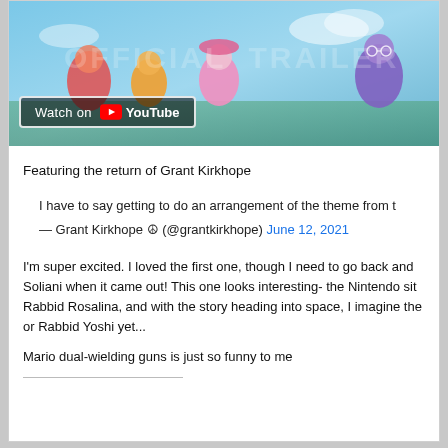[Figure (screenshot): YouTube video thumbnail for an 'OFFICIAL TRAILER' with colorful game characters visible, and a 'Watch on YouTube' button overlay at the bottom left.]
Featuring the return of Grant Kirkhope
I have to say getting to do an arrangement of the theme from t
— Grant Kirkhope ☮ (@grantkirkhope) June 12, 2021
I'm super excited. I loved the first one, though I need to go back and Soliani when it came out! This one looks interesting- the Nintendo sit Rabbid Rosalina, and with the story heading into space, I imagine the or Rabbid Yoshi yet...
Mario dual-wielding guns is just so funny to me